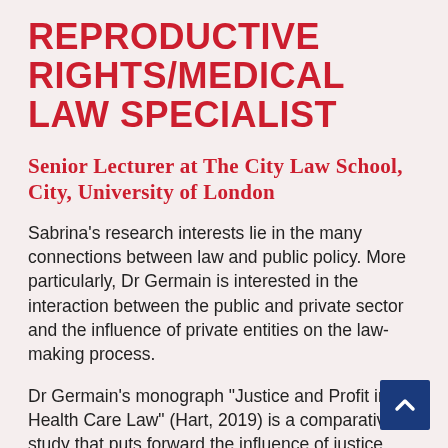REPRODUCTIVE RIGHTS/MEDICAL LAW SPECIALIST
Senior Lecturer at The City Law School, City, University of London
Sabrina's research interests lie in the many connections between law and public policy. More particularly, Dr Germain is interested in the interaction between the public and private sector and the influence of private entities on the law-making process.
Dr Germain's monograph "Justice and Profit in Health Care Law" (Hart, 2019) is a comparative study that puts forward the influence of justice principles and for-profit actors (the medical profession, employers and insurers) on the development of laws to allocate health care resources in western welfare states.